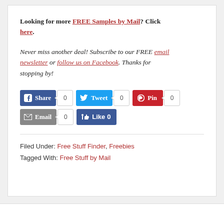Looking for more FREE Samples by Mail? Click here.
Never miss another deal! Subscribe to our FREE email newsletter or follow us on Facebook. Thanks for stopping by!
[Figure (other): Social sharing buttons: Facebook Share (0), Tweet (0), Pinterest Pin (0), Email (0), Facebook Like (0)]
Filed Under: Free Stuff Finder, Freebies
Tagged With: Free Stuff by Mail